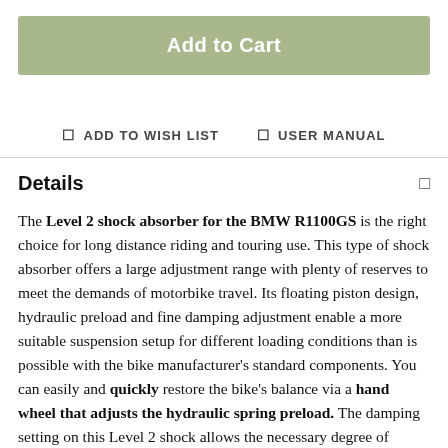Add to Cart
ADD TO WISH LIST
USER MANUAL
Details
The Level 2 shock absorber for the BMW R1100GS is the right choice for long distance riding and touring use. This type of shock absorber offers a large adjustment range with plenty of reserves to meet the demands of motorbike travel. Its floating piston design, hydraulic preload and fine damping adjustment enable a more suitable suspension setup for different loading conditions than is possible with the bike manufacturer's standard components. You can easily and quickly restore the bike's balance via a hand wheel that adjusts the hydraulic spring preload. The damping setting on this Level 2 shock allows the necessary degree of control over